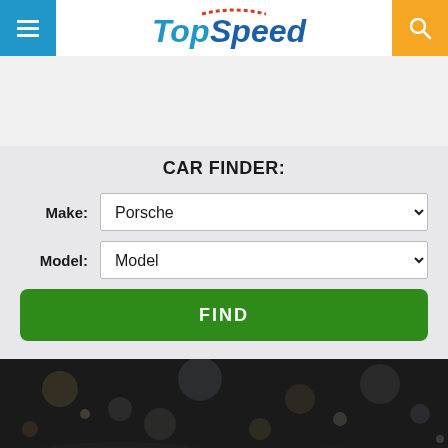TopSpeed
CAR FINDER:
Make: Porsche
Model: Model
FIND
[Figure (photo): Dark automotive/car show scene with bokeh lights in background, partially visible cars in the foreground]